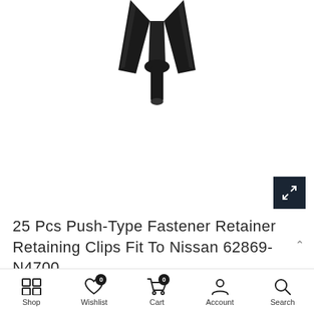[Figure (photo): A black push-type fastener retainer clip, showing a Y/V-shaped top portion of the clip against a white background. The clip appears to be a plastic automotive trim retainer.]
25 Pcs Push-Type Fastener Retainer Retaining Clips Fit To Nissan 62869-N4700
Shop  Wishlist 0  Cart 0  Account  Search